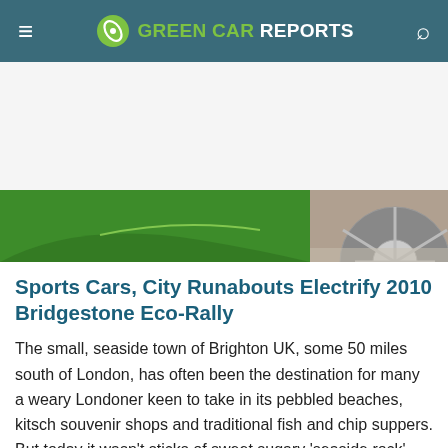GREEN CAR REPORTS
[Figure (photo): Close-up of a green sports car showing the lower door panel and a silver alloy wheel]
Sports Cars, City Runabouts Electrify 2010 Bridgestone Eco-Rally
The small, seaside town of Brighton UK, some 50 miles south of London, has often been the destination for many a weary Londoner keen to take in its pebbled beaches, kitsch souvenir shops and traditional fish and chip suppers. But today it wasn't sticks of sweet sugary 'seaside rock' candy cane or...